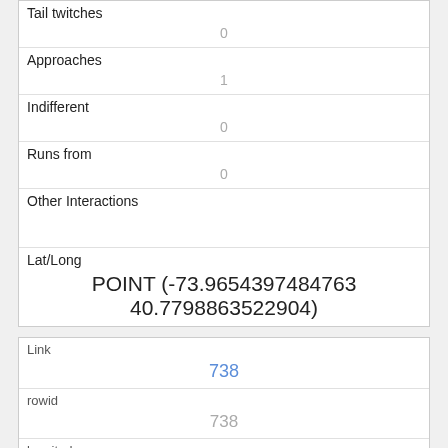| Tail twitches | 0 |
| Approaches | 1 |
| Indifferent | 0 |
| Runs from | 0 |
| Other Interactions |  |
| Lat/Long | POINT (-73.9654397484763 40.7798863522904) |
| Link | 738 |
| rowid | 738 |
| longitude | -73.9725712588741 |
| latitude | 40.7669101832926 |